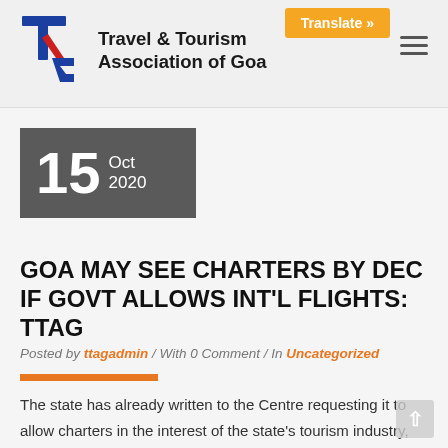Travel & Tourism Association of Goa
[Figure (logo): Travel & Tourism Association of Goa logo with stylized 'tt' letters in blue and red and organization name in bold]
Translate »
[Figure (other): Hamburger menu icon (three horizontal lines)]
[Figure (other): Date box showing 15 Oct 2020 on dark grey background]
GOA MAY SEE CHARTERS BY DEC IF GOVT ALLOWS INT'L FLIGHTS: TTAG
Posted by ttagadmin / With 0 Comment / In Uncategorized
The state has already written to the Centre requesting it to allow charters in the interest of the state's tourism industry, but it is yet to receive a positive response. The travel